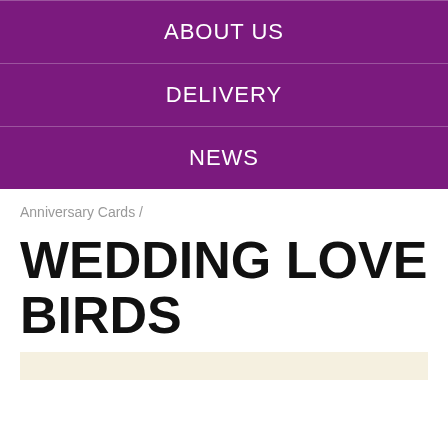ABOUT US
DELIVERY
NEWS
Anniversary Cards /
WEDDING LOVE BIRDS
[Figure (other): Partial image stub at bottom of page]